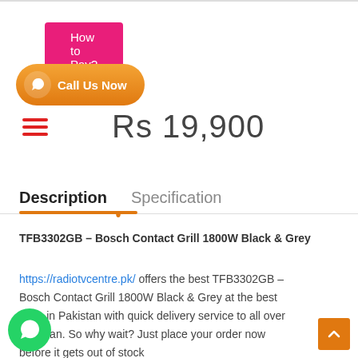[Figure (other): Pink 'How to Pay?' button]
[Figure (other): Orange 'Call Us Now' button with phone icon]
Rs 19,900
Description    Specification
TFB3302GB – Bosch Contact Grill 1800W Black & Grey
https://radiotvcentre.pk/ offers the best TFB3302GB – Bosch Contact Grill 1800W Black & Grey at the best price in Pakistan with quick delivery service to all over Pakistan. So why wait? Just place your order now before it gets out of stock
[Figure (other): WhatsApp floating button]
[Figure (other): Scroll to top orange button]